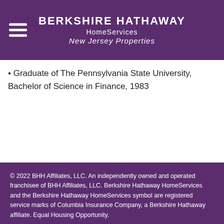BERKSHIRE HATHAWAY HomeServices New Jersey Properties
Graduate of The Pennsylvania State University, Bachelor of Science in Finance, 1983
© 2022 BHH Affiliates, LLC. An independently owned and operated franchisee of BHH Affiliates, LLC. Berkshire Hathaway HomeServices and the Berkshire Hathaway HomeServices symbol are registered service marks of Columbia Insurance Company, a Berkshire Hathaway affiliate. Equal Housing Opportunity.
All information deemed reliable but not guaranteed. All properties are subject to prior sale, change or withdrawal. Neither broker(s), agent(s) nor MoxiWorks.com shall be responsible for any typographical errors, misinformation or misprints, and shall be held